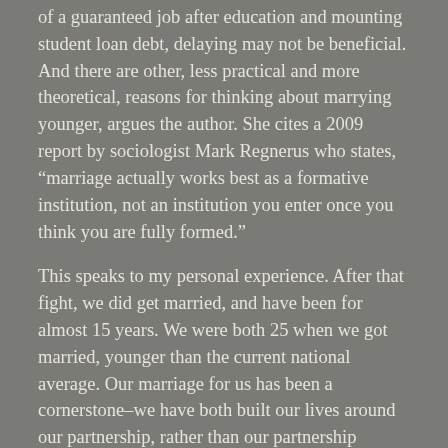of a guaranteed job after education and mounting student loan debt, delaying may not be beneficial. And there are other, less practical and more theoretical, reasons for thinking about marrying younger, argues the author. She cites a 2009 report by sociologist Mark Regnerus who states, “marriage actually works best as a formative institution, not an institution you enter once you think you are fully formed.”
This speaks to my personal experience. After that fight, we did get married, and have been for almost 15 years. We were both 25 when we got married, younger than the current national average. Our marriage for us has been a cornerstone–we have both built our lives around our partnership, rather than our partnership around our lives.
Marriage is about formation. I do believe this to be true. And I believe this not just about marriage but of other things as well.